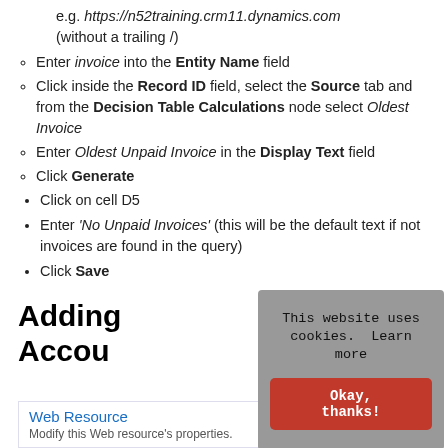e.g. https://n52training.crm11.dynamics.com (without a trailing /)
Enter invoice into the Entity Name field
Click inside the Record ID field, select the Source tab and from the Decision Table Calculations node select Oldest Invoice
Enter Oldest Unpaid Invoice in the Display Text field
Click Generate
Click on cell D5
Enter 'No Unpaid Invoices' (this will be the default text if not invoices are found in the query)
Click Save
Adding Account
[Figure (screenshot): Cookie consent overlay with text 'This website uses cookies. Learn more' and a red 'Okay, thanks!' button]
Web Resource — Modify this Web resource's properties.